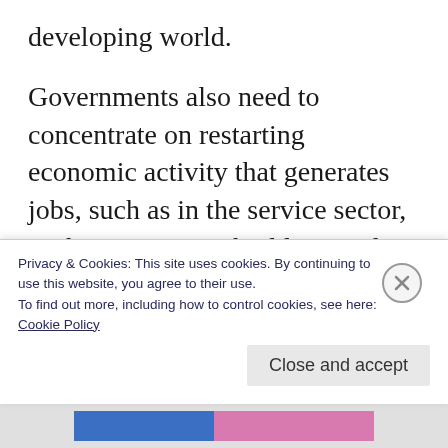developing world.
Governments also need to concentrate on restarting economic activity that generates jobs, such as in the service sector, as they strive to rebuild, according to Sánchez-Páramo.
Governments all over the world have implemented stimulus packages to help their economies recover over the last
Privacy & Cookies: This site uses cookies. By continuing to use this website, you agree to their use.
To find out more, including how to control cookies, see here:
Cookie Policy
Close and accept